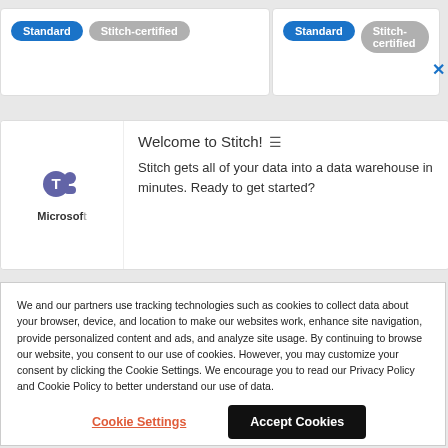[Figure (screenshot): Two UI cards side by side, each showing 'Standard' (blue pill button) and 'Stitch-certified' (gray pill button) labels. A blue X close button appears at the top right of the right card.]
[Figure (screenshot): Welcome panel with Microsoft Teams icon and 'Microsof...' label on the left, and 'Welcome to Stitch!' title with hamburger icon and welcome text on the right.]
We and our partners use tracking technologies such as cookies to collect data about your browser, device, and location to make our websites work, enhance site navigation, provide personalized content and ads, and analyze site usage. By continuing to browse our website, you consent to our use of cookies. However, you may customize your consent by clicking the Cookie Settings. We encourage you to read our Privacy Policy and Cookie Policy to better understand our use of data.
Cookie Settings
Accept Cookies